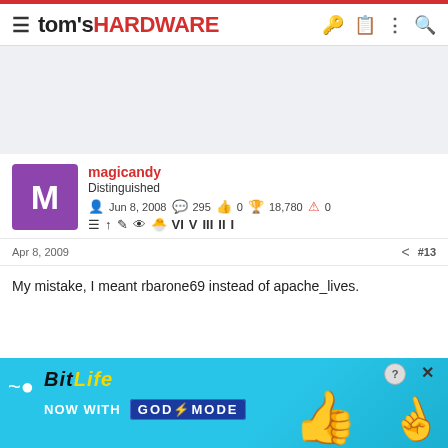tom's HARDWARE
[Figure (other): Advertisement placeholder banner (light blue-gray background)]
magicandy
Distinguished
Jun 8, 2008  295  0  18,780  0
Apr 8, 2009  #13
My mistake, I meant rbarone69 instead of apache_lives.
[Figure (infographic): BitLife advertisement banner: 'BitLife NOW WITH GOD MODE' on cyan background with hand/thumbs-up graphics]